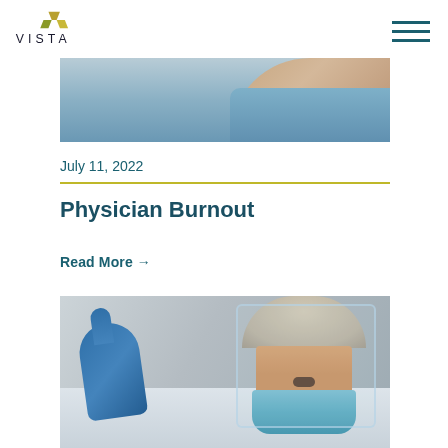VISTA
[Figure (photo): Cropped top portion of a photo showing a person in medical/clinical attire with a raised arm, blue background.]
July 11, 2022
Physician Burnout
Read More →
[Figure (photo): Photo of a healthcare worker wearing full PPE including a face shield, surgical mask, hair net, white coat, and blue gloves, holding up a gloved hand.]